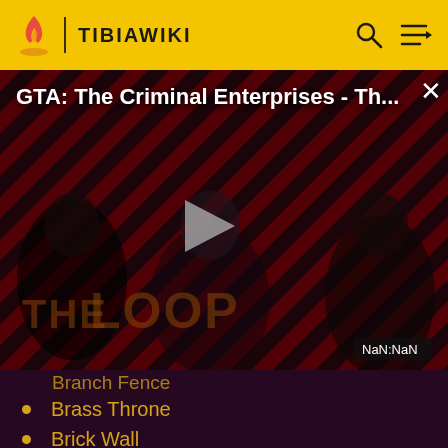TIBIAWIKI
[Figure (screenshot): Video player overlay showing 'GTA: The Criminal Enterprises - Th...' with play button, THE LOOP branding, and NaN:NaN time display]
Branch Fence (partially visible)
Brass Throne
Brick Wall
Brick Wall (Venore)
Brick Window
Broken Idol